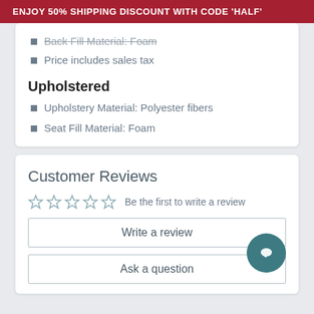ENJOY 50% SHIPPING DISCOUNT WITH CODE 'HALF'
Back Fill Material: Foam
Price includes sales tax
Upholstered
Upholstery Material: Polyester fibers
Seat Fill Material: Foam
Customer Reviews
Be the first to write a review
Write a review
Ask a question